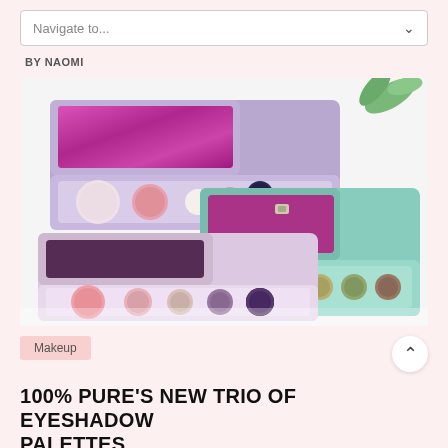Navigate to...
BY NAOMI
[Figure (photo): Three open eyeshadow palettes arranged on a white surface. Top palette has lavender/purple casing with blush and highlight shades plus darker shadows. Middle palette has mint/teal casing with blush and green-toned shadows. Bottom palette has light pink casing with blush, nude, mauve and purple shadow shades. All palettes have magenta foil interior mirror lids.]
Makeup
100% PURE'S NEW TRIO OF EYESHADOW PALETTES